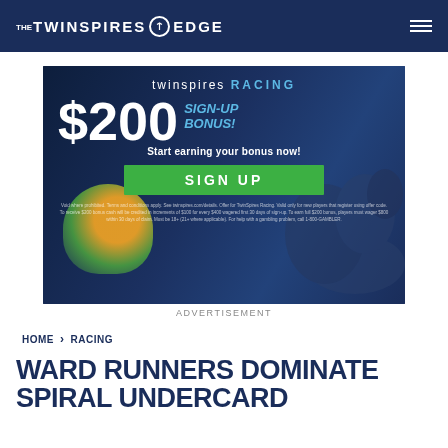THE TWINSPIRES EDGE
[Figure (photo): TwinSpires Racing advertisement banner showing jockey on horse with $200 Sign-Up Bonus offer and a green SIGN UP button]
ADVERTISEMENT
HOME > RACING
WARD RUNNERS DOMINATE SPIRAL UNDERCARD